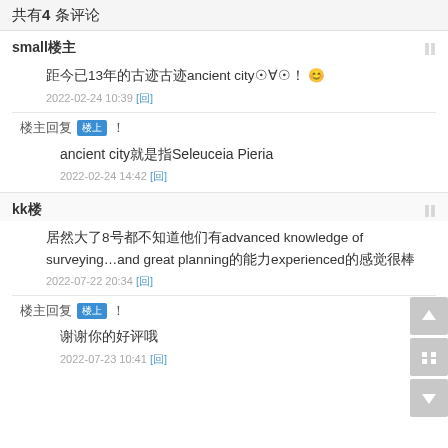共有4 条评论
small楼主
距今已13年的古迹ancient city⊙∀⊙！😊
2022-02-24 10:39 [回]
楼主回复 楼上！
ancient city就是指Seleuceia Pieria
2022-02-24 14:42 [回]
kk楼
居然大了8号都不知道他们有advanced knowledge of surveying…and great planning的能力experienced的感觉很棒
2022-07-22 20:34 [回]
楼主回复 楼上！
谢谢你的好评哦
2022-07-23 10:41 [回]